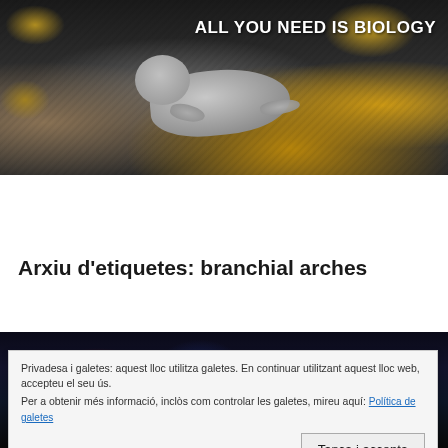[Figure (photo): Website header banner showing a seal resting on rocks covered with yellow-orange lichen, with dark rocky background. White bold text reads 'ALL YOU NEED IS BIOLOGY' in the upper right.]
All you need is Biology
Arxiu d'etiquetes: branchial arches
[Figure (photo): Dark background image showing colorful fish (appears to be a tropical reef fish with red, blue colors).]
Privadesa i galetes: aquest lloc utilitza galetes. En continuar utilitzant aquest lloc web, accepteu el seu ús.
Per a obtenir més informació, inclòs com controlar les galetes, mireu aquí: Política de galetes
Tanca i accepta